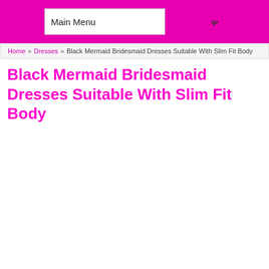Main Menu
Home » Dresses » Black Mermaid Bridesmaid Dresses Suitable With Slim Fit Body
Black Mermaid Bridesmaid Dresses Suitable With Slim Fit Body